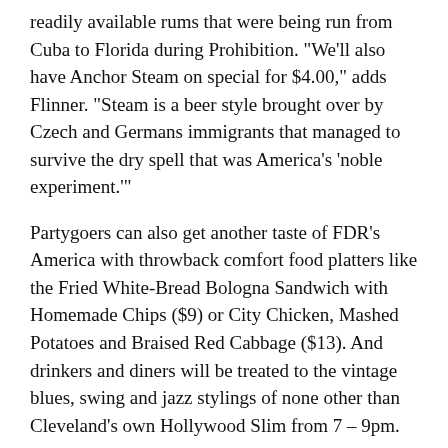readily available rums that were being run from Cuba to Florida during Prohibition. "We'll also have Anchor Steam on special for $4.00," adds Flinner. "Steam is a beer style brought over by Czech and Germans immigrants that managed to survive the dry spell that was America's 'noble experiment.'"
Partygoers can also get another taste of FDR's America with throwback comfort food platters like the Fried White-Bread Bologna Sandwich with Homemade Chips ($9) or City Chicken, Mashed Potatoes and Braised Red Cabbage ($13). And drinkers and diners will be treated to the vintage blues, swing and jazz stylings of none other than Cleveland's own Hollywood Slim from 7 – 9pm.
"The anniversary of Prohibition's repeal technically is December 5th, but since that's a Monday we decided to get an early start," says Flinner. "We'll continue the party until the stroke of midnight and offer a $5 late-night Prohibition cocktail happy hour beginning at 10pm that's perfect for night owls and our peers in